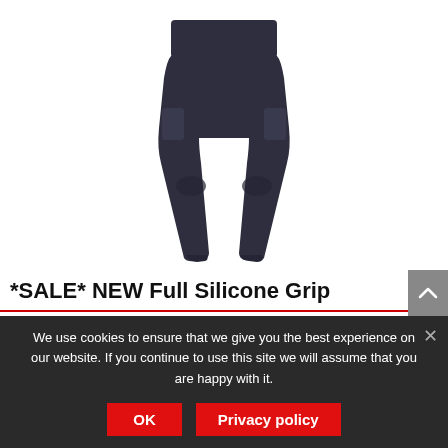[Figure (photo): Dark navy/charcoal high-waisted silicone grip riding tights/pants displayed flat against white background, showing full length from waist to ankle with wide waistband.]
*SALE* NEW Full Silicone Grip
We use cookies to ensure that we give you the best experience on our website. If you continue to use this site we will assume that you are happy with it.
OK  Privacy policy